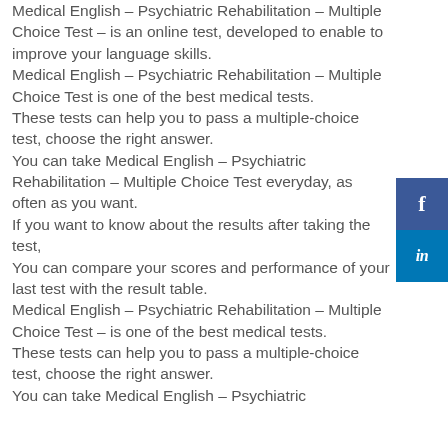Medical English – Psychiatric Rehabilitation – Multiple Choice Test – is an online test, developed to enable to improve your language skills. Medical English – Psychiatric Rehabilitation – Multiple Choice Test is one of the best medical tests. These tests can help you to pass a multiple-choice test, choose the right answer. You can take Medical English – Psychiatric Rehabilitation – Multiple Choice Test everyday, as often as you want. If you want to know about the results after taking the test, You can compare your scores and performance of your last test with the result table. Medical English – Psychiatric Rehabilitation – Multiple Choice Test – is one of the best medical tests. These tests can help you to pass a multiple-choice test, choose the right answer. You can take Medical English – Psychiatric